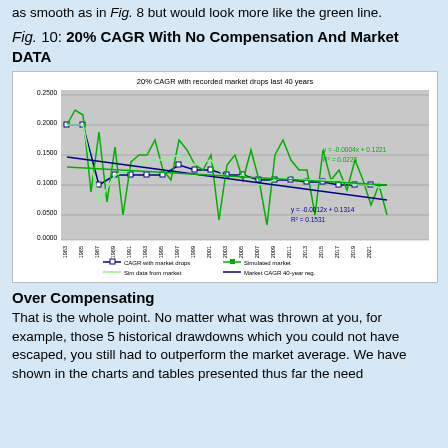as smooth as in Fig. 8 but would look more like the green line.
Fig. 10: 20% CAGR With No Compensation And Market DATA
[Figure (line-chart): Line chart showing 20% CAGR with recorded market drops over 40 years. Two trend lines shown with equations: y=-0.0004x+0.1221, R²=0.0223 (green) and y=-0.0012x+0.1314, R²=0.1531 (blue).]
Over Compensating
That is the whole point. No matter what was thrown at you, for example, those 5 historical drawdowns which you could not have escaped, you still had to outperform the market average. We have shown in the charts and tables presented thus far the need